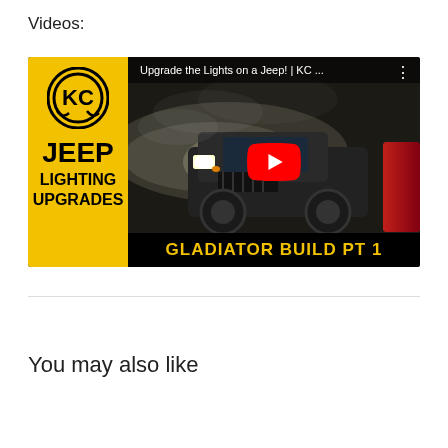Videos:
[Figure (screenshot): YouTube video thumbnail for 'Upgrade the Lights on a Jeep! | KC ...' showing a Jeep Gladiator with bright lights in a dark smoky setting. Left yellow panel shows KC logo and text 'JEEP LIGHTING UPGRADES'. Bottom black banner shows 'GLADIATOR BUILD PT 1' in yellow. Red YouTube play button in center.]
You may also like